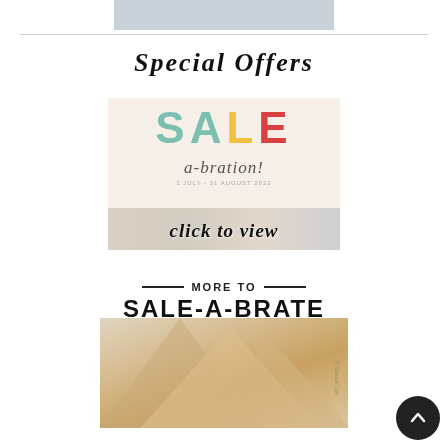[Figure (photo): Top cropped image, partially visible, light gray/product photo]
Special Offers
[Figure (illustration): Sale-a-bration banner with colorful SALE text and 'click to view' overlay, dated 1 July - 31 August 2022]
[Figure (illustration): MORE TO SALE-A-BRATE header graphic with decorative lines above a product/foil image]